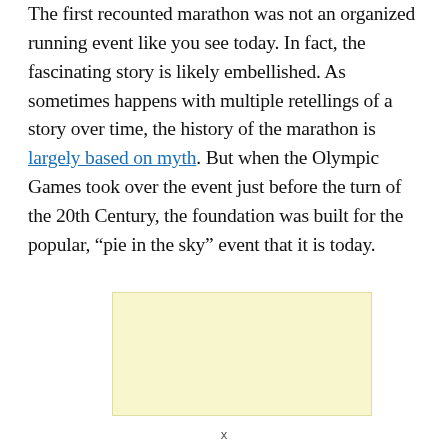The first recounted marathon was not an organized running event like you see today. In fact, the fascinating story is likely embellished. As sometimes happens with multiple retellings of a story over time, the history of the marathon is largely based on myth. But when the Olympic Games took over the event just before the turn of the 20th Century, the foundation was built for the popular, “pie in the sky” event that it is today.
[Figure (other): Advertisement placeholder block with light yellow background]
x